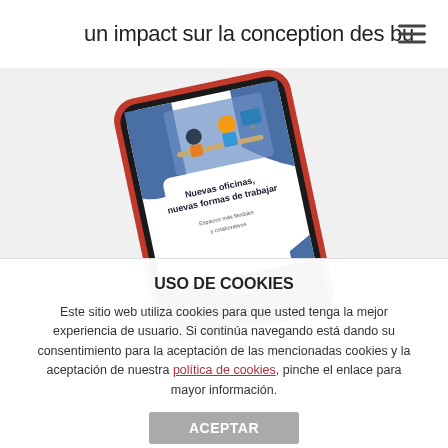un impact sur la conception des bu
[Figure (illustration): A tablet device shown at an angle displaying a Spanish-language document cover titled 'Nuevas oficinas, nuevas formas de trabajar' with office illustration and 'ofita' branding. The tablet has a black and red casing.]
USO DE COOKIES
Este sitio web utiliza cookies para que usted tenga la mejor experiencia de usuario. Si continúa navegando está dando su consentimiento para la aceptación de las mencionadas cookies y la aceptación de nuestra política de cookies, pinche el enlace para mayor información.
ACEPTAR